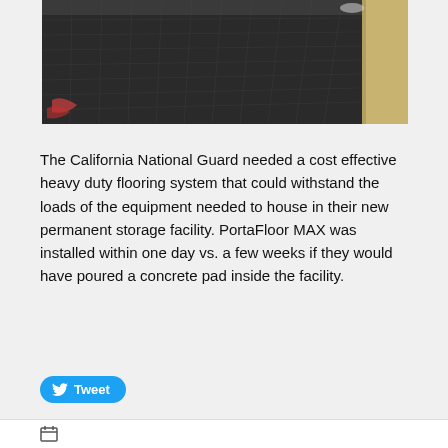[Figure (photo): Aerial/wide-angle photograph of dark interlocking floor panels (PortaFloor MAX) laid out in a large storage facility, with a concrete border/curb visible on the right side.]
The California National Guard needed a cost effective heavy duty flooring system that could withstand the loads of the equipment needed to house in their new permanent storage facility. PortaFloor MAX was installed within one day vs. a few weeks if they would have poured a concrete pad inside the facility.